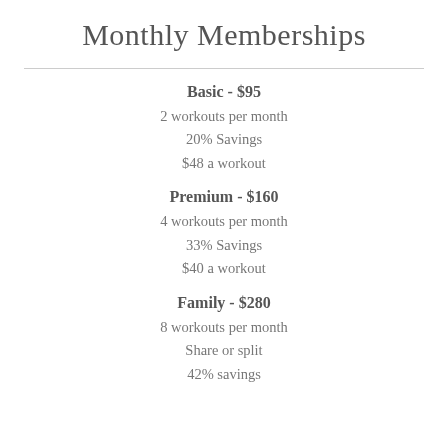Monthly Memberships
Basic - $95
2 workouts per month
20% Savings
$48 a workout
Premium - $160
4 workouts per month
33% Savings
$40 a workout
Family  - $280
8 workouts per month
Share or split
42% savings